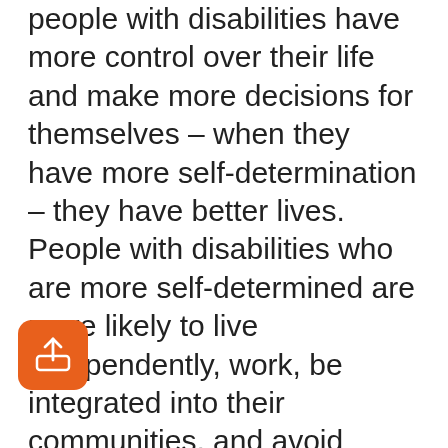people with disabilities have more control over their life and make more decisions for themselves – when they have more self-determination – they have better lives. People with disabilities who are more self-determined are more likely to live independently, work, be integrated into their communities, and avoid abuse. This session will introduce the audience to the theory and practice of Supported Decision-Making (SDM). When people with disabilities use SDM, they work with friends, family, and professionals so they can understand their choices and make their own decisions. As a result, SDM can help people be self-determined and have better life outcomes...
[Figure (other): Orange rounded square share/export icon button in the lower left corner]